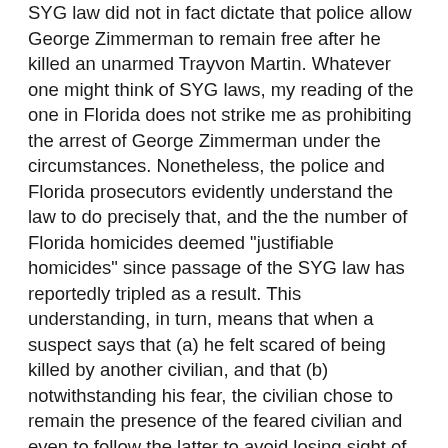SYG law did not in fact dictate that police allow George Zimmerman to remain free after he killed an unarmed Trayvon Martin.  Whatever one might think of SYG laws, my reading of the one in Florida does not strike me as prohibiting the arrest of George Zimmerman under the circumstances.  Nonetheless, the police and Florida prosecutors evidently understand the law to do precisely that, and the the number of Florida homicides deemed "justifiable homicides" since passage of the SYG law has reportedly tripled as a result.  This understanding, in turn, means that when a suspect says that (a) he felt scared of being killed by another civilian, and that (b) notwithstanding his fear, the civilian chose to remain the presence of the feared civilian and even to follow the latter to avoid losing sight of him, then the suspect was entitled to use deadly force against the civilian rather than, for example, choosing not to follow the feared civilian at all.
Assume that the Florida law -- a law that, like the twenty-three other SYG laws, reflects successful lobbying efforts by the right-wing American Legislative Exchange Counsel ("ALEC") -- protects the use of deadly force under these circumstances.  This means that if a person feels afraid of